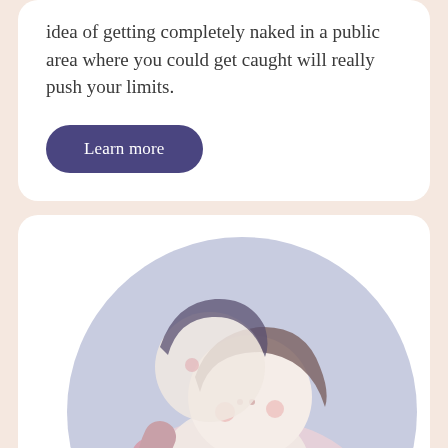idea of getting completely naked in a public area where you could get caught will really push your limits.
Learn more
[Figure (illustration): A soft-style illustration of two cartoon figures embracing, set against a circular lavender-grey background. The figures have pale skin tones with rosy cheeks, dark hair, and are shown in an intimate embrace with warm pink and muted purple tones.]